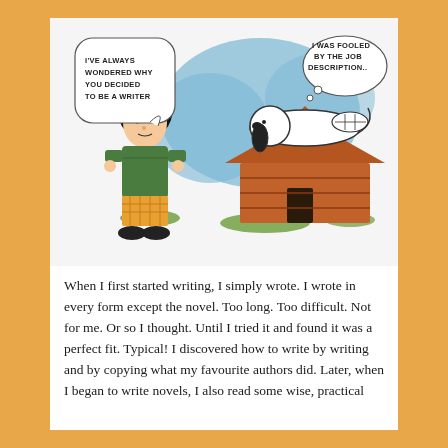[Figure (illustration): Peanuts comic strip showing Lucy talking to Snoopy who is lying on top of his doghouse. Lucy has a speech bubble saying 'I'VE ALWAYS WONDERED WHY YOU DECIDED TO BE A WRITER' and Snoopy has a speech bubble saying 'I WAS FOOLED BY THE JOB DESCRIPTION..']
When I first started writing, I simply wrote. I wrote in every form except the novel. Too long. Too difficult. Not for me. Or so I thought. Until I tried it and found it was a perfect fit. Typical! I discovered how to write by writing and by copying what my favourite authors did. Later, when I began to write novels, I also read some wise, practical